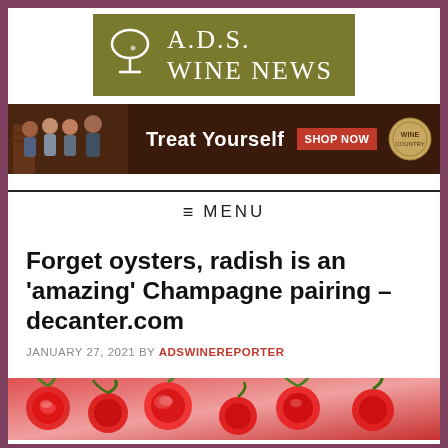[Figure (logo): A.D.S. Wine News logo with wine glass icon on olive/dark yellow background]
[Figure (photo): Advertisement banner: group of four people holding wine glasses in a winery, text 'Treat Yourself' with 'SHOP NOW' red button and winery logo on dark brown background]
MENU
Forget oysters, radish is an 'amazing' Champagne pairing – decanter.com
JANUARY 27, 2021 BY ADSWINEREPORTER
[Figure (photo): Close-up photo of radishes]